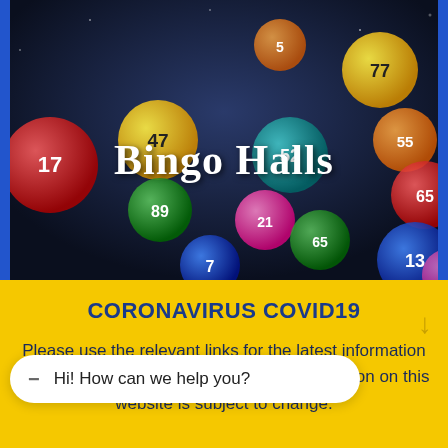[Figure (illustration): Hero banner image showing colorful bingo balls with numbers (5, 17, 47, 89, 7, 52, 21, 65, 77, 55, 65, 13, 4) against a dark blue/space background, with the text 'Bingo Halls' overlaid in white serif bold font. Blue border on left and right sides.]
CORONAVIRUS COVID19
Please use the relevant links for the latest information from venues & event organisers. All information on this website is subject to change.
Hi! How can we help you?